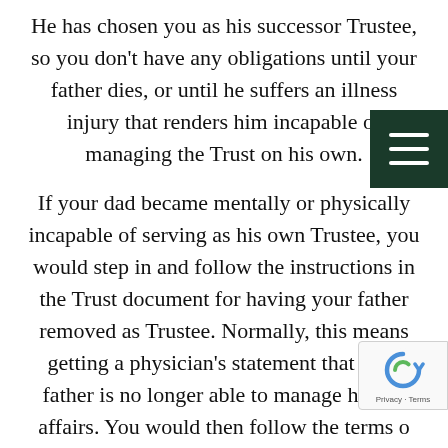He has chosen you as his successor Trustee, so you don't have any obligations until your father dies, or until he suffers an illness injury that renders him incapable of managing the Trust on his own.
If your dad became mentally or physically incapable of serving as his own Trustee, you would step in and follow the instructions in the Trust document for having your father removed as Trustee. Normally, this means getting a physician's statement that your father is no longer able to manage his own affairs. You would then follow the terms of the Trust to manage Trust assets for your...